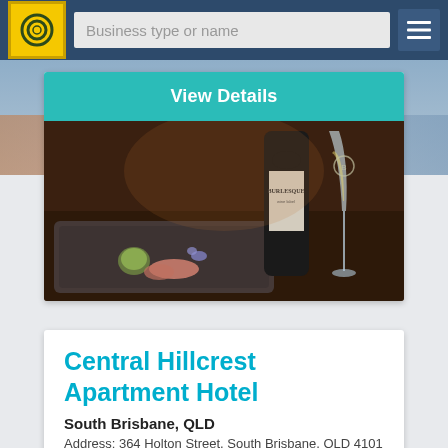Business type or name
View Details
[Figure (photo): Food and wine photo: a champagne glass and a bottle of Burlesque wine alongside a gourmet dish with seafood and garnish on a dark serving board]
Central Hillcrest Apartment Hotel
South Brisbane, QLD
Address: 364 Holton Street, South Brisbane, QLD 4101